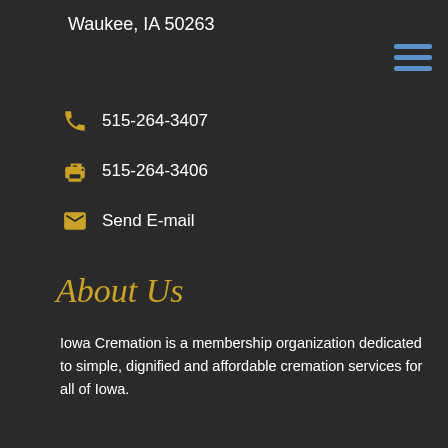Waukee, IA 50263
515-264-3407
515-264-3406
Send E-mail
About Us
Iowa Cremation is a membership organization dedicated to simple, dignified and affordable cremation services for all of Iowa.
Privacy Policy
[Figure (illustration): Facebook and Twitter social media icons in circular outlines]